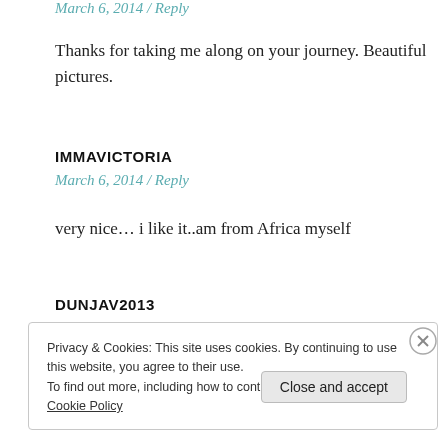March 6, 2014 / Reply
Thanks for taking me along on your journey. Beautiful pictures.
IMMAVICTORIA
March 6, 2014 / Reply
very nice… i like it..am from Africa myself
DUNJAV2013
Privacy & Cookies: This site uses cookies. By continuing to use this website, you agree to their use. To find out more, including how to control cookies, see here: Cookie Policy